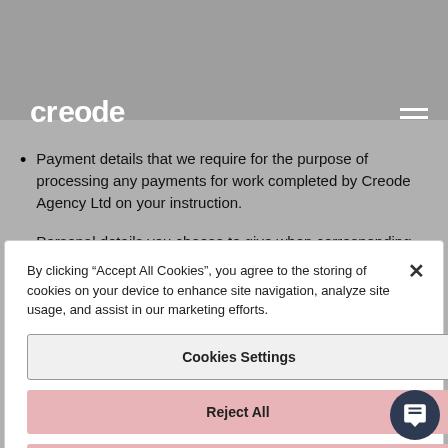address, e-mail address, business or personal address, phone number) when working with Creode Agency Ltd.
creode
Payment details that we require for the purpose of processing any payments for work completed by Creode Agency Ltd on your instruction.
Personal details you choose to give when corresponding with us by phone, email, online job
By clicking “Accept All Cookies”, you agree to the storing of cookies on your device to enhance site navigation, analyze site usage, and assist in our marketing efforts.
Cookies Settings
Reject All
Accept All Cookies